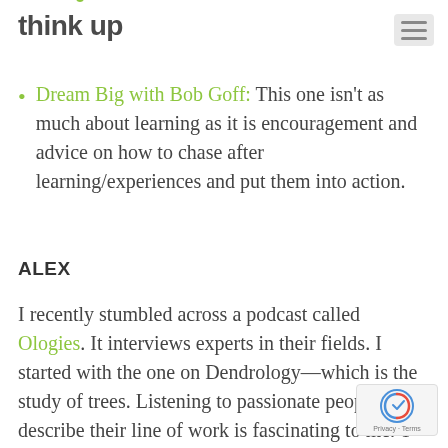think up
Dream Big with Bob Goff: This one isn't as much about learning as it is encouragement and advice on how to chase after learning/experiences and put them into action.
ALEX
I recently stumbled across a podcast called Ologies. It interviews experts in their fields. I started with the one on Dendrology—which is the study of trees. Listening to passionate people describe their line of work is fascinating to me. T dude LOVES trees and his attitude is contagious. Check it out!